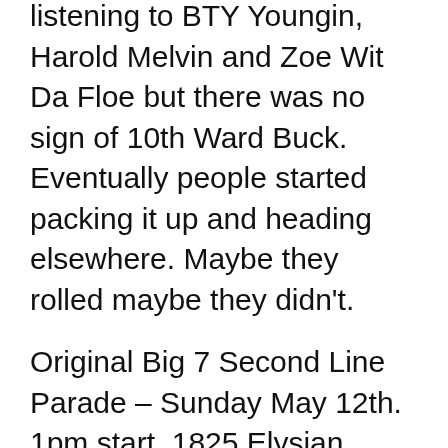listening to BTY Youngin, Harold Melvin and Zoe Wit Da Floe but there was no sign of 10th Ward Buck. Eventually people started packing it up and heading elsewhere. Maybe they rolled maybe they didn't.
Original Big 7 Second Line Parade – Sunday May 12th. 1pm start. 1825 Elysian Fields. Big rains coming so monitor closely. Field Report
Downtown Super Sunday (Mardi Gras Indian party) Sunday May 12th. Noon. Orleans Avenue at Bayou St John. Field Report
Backatown Community Fest. Thursday May 16th. 5:30pm. Duncan Plaza 343-349 Loyola Ave. Brass bands and S&P clubs